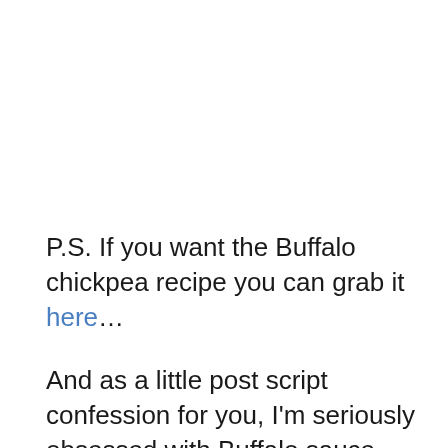P.S. If you want the Buffalo chickpea recipe you can grab it here…
And as a little post script confession for you, I'm seriously obsessed with Buffalo sauce.
This sauce from Nobel Made, which I get from Thrive Market, is my favorite. All the kick and tang of good buffalo sauce without too much